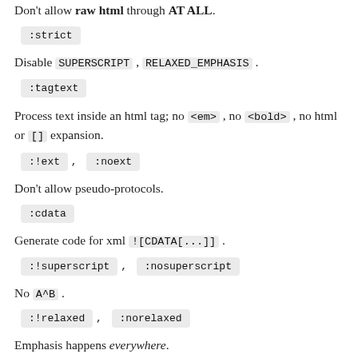Don't allow raw html through AT ALL.
:strict
Disable SUPERSCRIPT, RELAXED_EMPHASIS.
:tagtext
Process text inside an html tag; no <em>, no <bold>, no html or [] expansion.
:!ext , :noext
Don't allow pseudo-protocols.
:cdata
Generate code for xml ![CDATA[...]] .
:!superscript , :nosuperscript
No A^B .
:!relaxed , :norelaxed
Emphasis happens everywhere.